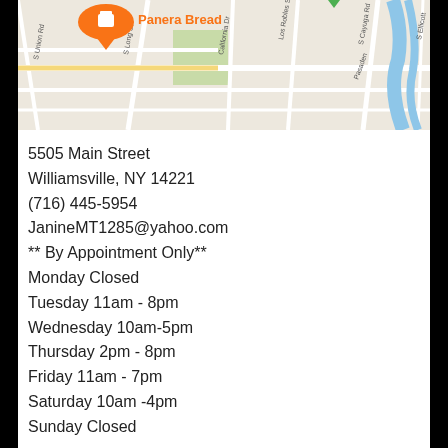[Figure (map): Google Maps screenshot showing streets around 5505 Main Street, Williamsville NY, with a Panera Bread location marker visible at top left. Streets shown include S Long St, California Dr, Los Robles St, Milton St, Pasadena, S Cayuga Rd, and S Ellicott. A blue river/waterway is visible on the right side.]
5505 Main Street
Williamsville, NY 14221
(716) 445-5954
JanineMT1285@yahoo.com
** By Appointment Only**
Monday Closed
Tuesday 11am - 8pm
Wednesday 10am-5pm
Thursday 2pm - 8pm
Friday 11am - 7pm
Saturday 10am -4pm
Sunday Closed